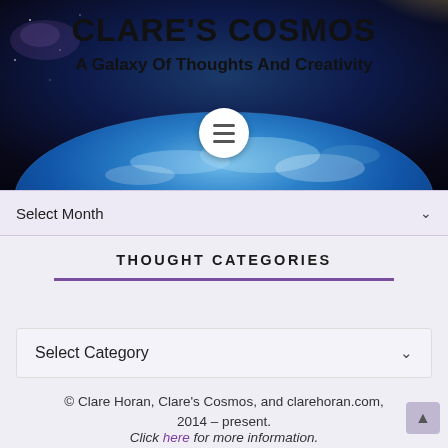[Figure (illustration): Website header banner with space/earth imagery showing a blue planet from orbit against a dark starry sky background]
CLARE'S COSMOS
A Galaxy Of Thoughts And Creativity
Select Month
THOUGHT CATEGORIES
Select Category
© Clare Horan, Clare's Cosmos, and clarehoran.com, 2014 – present.
Click here for more information.